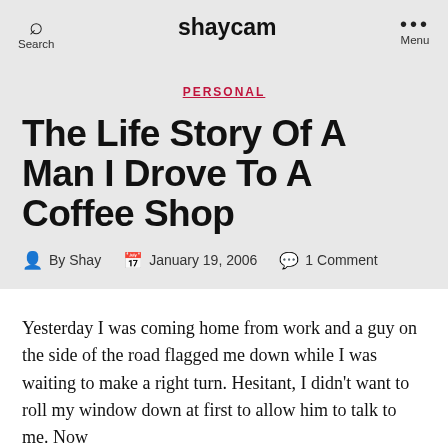shaycam
PERSONAL
The Life Story Of A Man I Drove To A Coffee Shop
By Shay   January 19, 2006   1 Comment
Yesterday I was coming home from work and a guy on the side of the road flagged me down while I was waiting to make a right turn. Hesitant, I didn't want to roll my window down at first to allow him to talk to me. Now